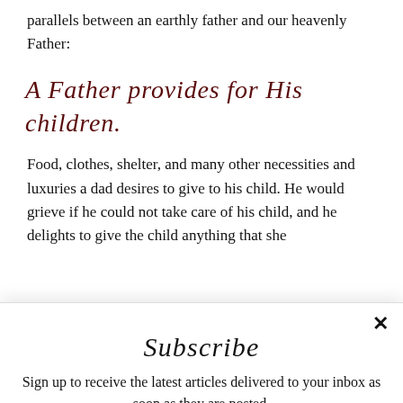parallels between an earthly father and our heavenly Father:
A Father provides for His children.
Food, clothes, shelter, and many other necessities and luxuries a dad desires to give to his child. He would grieve if he could not take care of his child, and he delights to give the child anything that she
Subscribe
Sign up to receive the latest articles delivered to your inbox as soon as they are posted.
Email Address *